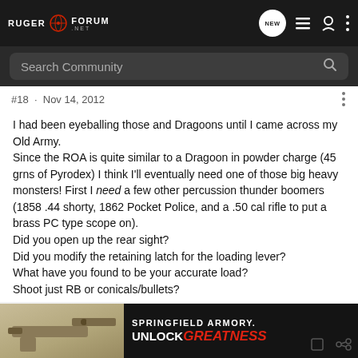Ruger Forum .net — header navigation with NEW, list, user, and menu icons
Search Community
#18 · Nov 14, 2012
I had been eyeballing those and Dragoons until I came across my Old Army.
Since the ROA is quite similar to a Dragoon in powder charge (45 grns of Pyrodex) I think I'll eventually need one of those big heavy monsters! First I need a few other percussion thunder boomers (1858 .44 shorty, 1862 Pocket Police, and a .50 cal rifle to put a brass PC type scope on).
Did you open up the rear sight?
Did you modify the retaining latch for the loading lever?
What have you found to be your accurate load?
Shoot just RB or conicals/bullets?
[Figure (advertisement): Springfield Armory advertisement banner showing handgun with text SPRINGFIELD ARMORY. UNLOCK GREATNESS]